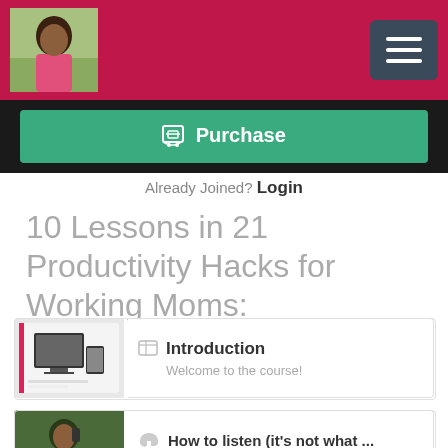[Figure (photo): Website header with profile photo of a woman in pink top on crimson/dark pink background, hamburger menu button top right]
[Figure (screenshot): Green Purchase button with shopping cart icon on dark background]
Already Joined? Login
10 Lessons in 21 Productivity Hacks for Working Moms:
[Figure (screenshot): Course thumbnail showing devices with course logo, Introduction lesson]
Introduction
Welcome to the course!
[Figure (photo): Course thumbnail showing woman talking on phone, How to listen lesson]
How to listen (it's not what ...
Get ready to hear in a whole new way
[Figure (screenshot): Course thumbnail showing devices with course materials, The BIG picture lesson]
The BIG picture
Learning to win at home & at work